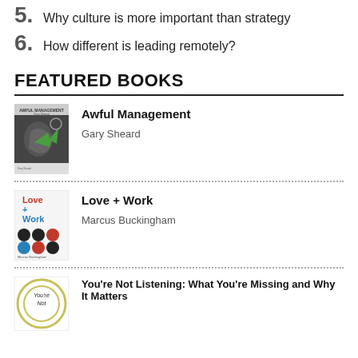5. Why culture is more important than strategy
6. How different is leading remotely?
FEATURED BOOKS
[Figure (illustration): Book cover for Awful Management by Gary Sheard — dark cover with a wrench/mechanical image and green arrow]
Awful Management
Gary Sheard
[Figure (illustration): Book cover for Love + Work by Marcus Buckingham — red text on white with colored circles grid pattern]
Love + Work
Marcus Buckingham
[Figure (illustration): Book cover for You're Not Listening: What You're Missing and Why It Matters — circular logo style cover]
You're Not Listening: What You're Missing and Why It Matters